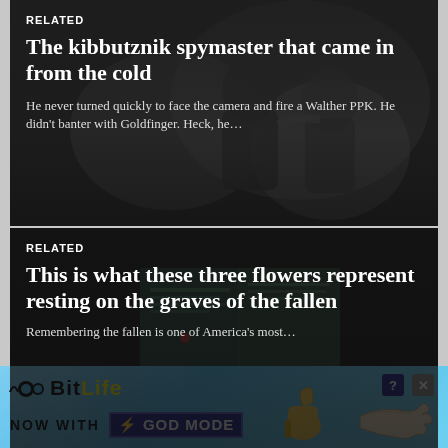[Figure (photo): Dark background photo of two people, one touching the other's shoulder, monochrome/dark tones]
RELATED
The kibbutznik spymaster that came in from the cold
He never turned quickly to face the camera and fire a Walther PPK. He didn't banter with Goldfinger. Heck, he...
[Figure (photo): Dark photo of an open book with text on wooden surface]
RELATED
This is what these three flowers represent resting on the graves of the fallen
Remembering the fallen is one of America's most...
[Figure (infographic): BitLife advertisement banner - NOW WITH GOD MODE]